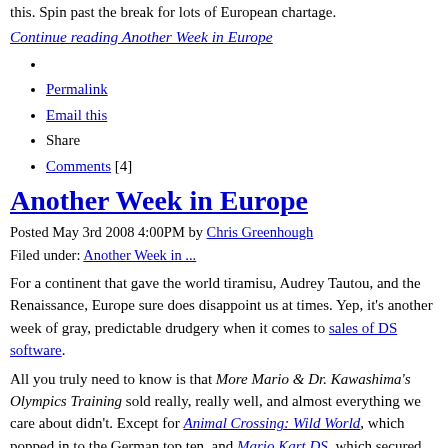this. Spin past the break for lots of European chartage.
Continue reading Another Week in Europe
Permalink
Email this
Share
Comments [4]
Another Week in Europe
Posted May 3rd 2008 4:00PM by Chris Greenhough
Filed under: Another Week in ...
For a continent that gave the world tiramisu, Audrey Tautou, and the Renaissance, Europe sure does disappoint us at times. Yep, it's another week of gray, predictable drudgery when it comes to sales of DS software.
All you truly need to know is that More Mario & Dr. Kawashima's Olympics Training sold really, really well, and almost everything we care about didn't. Except for Animal Crossing: Wild World, which popped in to the German top ten, and Mario Kart DS, which secured eighth place in Ireland, and fifth in Germany. So maybe